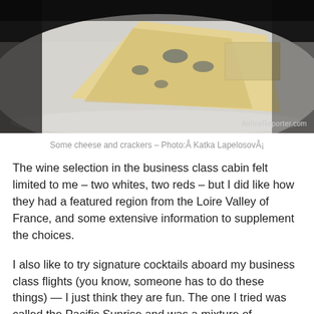[Figure (photo): Photo of cheese and crackers on a white plate, dark background, with AirlineReporter.com watermark in bottom right]
Some cheese and crackers – Photo:Â Katka LapelosovÃ¡
The wine selection in the business class cabin felt limited to me – two whites, two reds – but I did like how they had a featured region from the Loire Valley of France, and some extensive information to supplement the choices.
I also like to try signature cocktails aboard my business class flights (you know, someone has to do these things) — I just think they are fun. The one I tried was called the Pacific Sunrise and was a mixture of champagne, Dramboue, and citrus peel. I wasnâ€™t a huge fan of it, but Iâ€™m glad I got to try something new.
[Figure (photo): Cathay Pacific Studio CX entertainment screen interface showing the Cathay Pacific logo, Studio CX branding, navigation icons, and time display reading 'Time At YVR 7:53 pm']